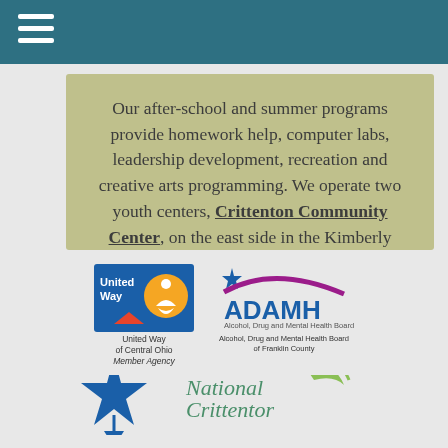Our after-school and summer programs provide homework help, computer labs, leadership development, recreation and creative arts programming. We operate two youth centers, Crittenton Community Center, on the east side in the Kimberly Parkway neighborhood, and Ohio Avenue Youth Center.
[Figure (logo): United Way of Central Ohio Member Agency logo]
[Figure (logo): ADAMH - Alcohol, Drug and Mental Health Board of Franklin County logo]
[Figure (logo): Partial star logo (bottom left)]
[Figure (logo): National Crittenton (partial) logo (bottom right)]